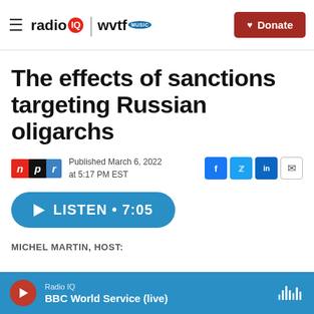radio IQ | wvtf MUSIC — Donate
The effects of sanctions targeting Russian oligarchs
Published March 6, 2022 at 5:17 PM EST
LISTEN • 7:05
MICHEL MARTIN, HOST:
Radio IQ — BBC World Service (live)